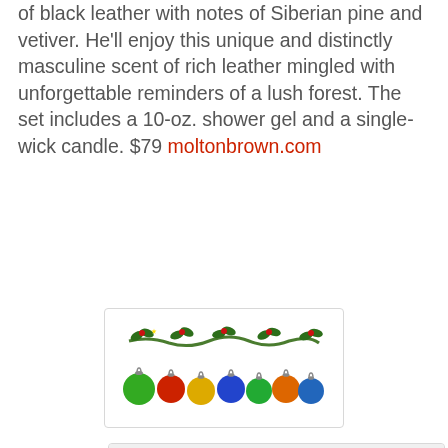of black leather with notes of Siberian pine and vetiver. He'll enjoy this unique and distinctly masculine scent of rich leather mingled with unforgettable reminders of a lush forest. The set includes a 10-oz. shower gel and a single-wick candle. $79 moltonbrown.com
[Figure (illustration): A row of colorful Christmas ornament balls hanging from a garland of holly and greenery, displayed in a white box with thin border.]
[Figure (photo): A red holiday card gift box with snowflake pattern, featuring 3D cut-out decorations of a Christmas stocking, snowman, and Christmas tree, along with a snowflake ornament tag. Labeled 'HOLIDAY CARDS' at bottom.]